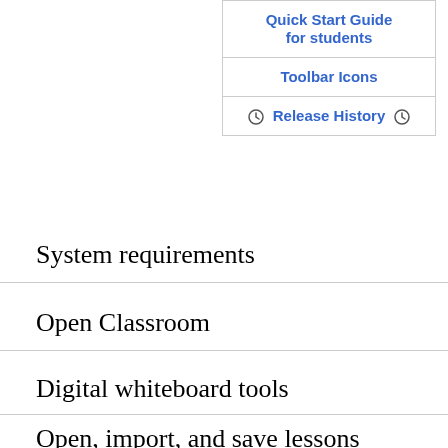| Quick Start Guide for students |
| Toolbar Icons |
| 🕐 Release History 🕐 |
System requirements
Open Classroom
Digital whiteboard tools
Open, import, and save lessons